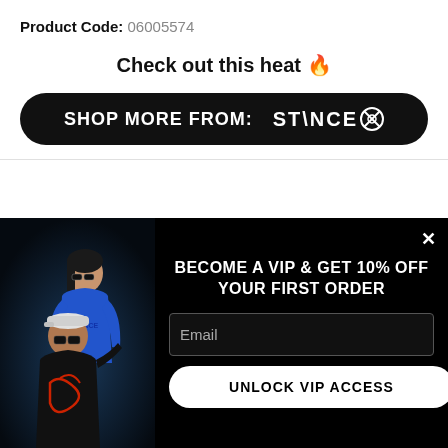Product Code: 06005574
Check out this heat 🔥
SHOP MORE FROM: STANCE
[Figure (photo): Two people wearing streetwear in a dark studio. Woman in blue hoodie and sunglasses with arm around man in black tracksuit and cap with sunglasses.]
BECOME A VIP & GET 10% OFF YOUR FIRST ORDER
Email
UNLOCK VIP ACCESS